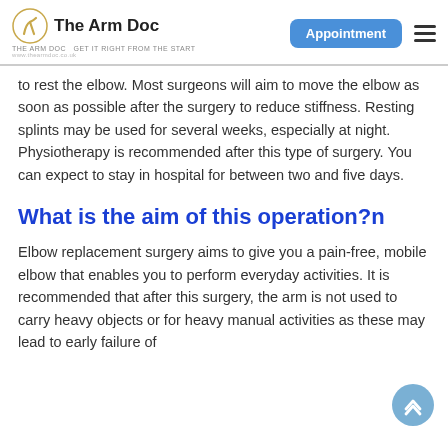The Arm Doc | GET IT RIGHT FROM THE START | www.thearmdoc.co.uk | Appointment
to rest the elbow. Most surgeons will aim to move the elbow as soon as possible after the surgery to reduce stiffness. Resting splints may be used for several weeks, especially at night. Physiotherapy is recommended after this type of surgery. You can expect to stay in hospital for between two and five days.
What is the aim of this operation?n
Elbow replacement surgery aims to give you a pain-free, mobile elbow that enables you to perform everyday activities. It is recommended that after this surgery, the arm is not used to carry heavy objects or for heavy manual activities as these may lead to early failure of